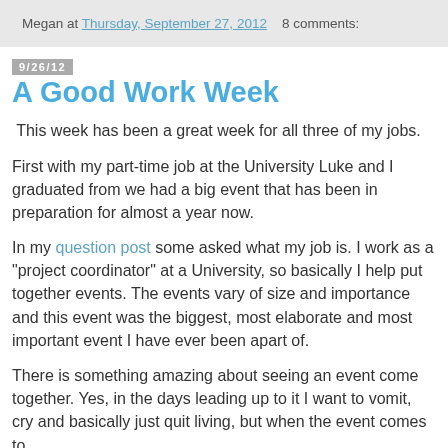Megan at Thursday, September 27, 2012   8 comments:
9/26/12
A Good Work Week
This week has been a great week for all three of my jobs.
First with my part-time job at the University Luke and I graduated from we had a big event that has been in preparation for almost a year now.
In my question post some asked what my job is. I work as a "project coordinator" at a University, so basically I help put together events. The events vary of size and importance and this event was the biggest, most elaborate and most important event I have ever been apart of.
There is something amazing about seeing an event come together. Yes, in the days leading up to it I want to vomit, cry and basically just quit living, but when the event comes to